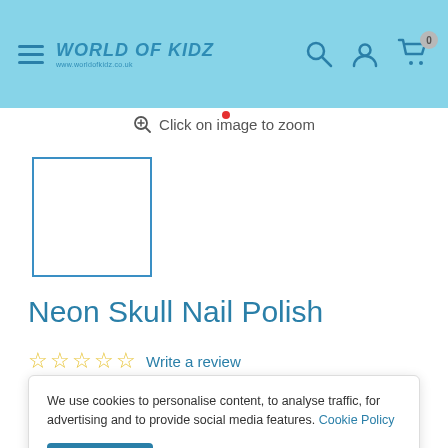WORLD OF KIDZ — navigation header with hamburger menu, search, account, and cart icons
Click on image to zoom
[Figure (other): Product thumbnail placeholder box with blue border]
Neon Skull Nail Polish
☆☆☆☆☆ Write a review
We use cookies to personalise content, to analyse traffic, for advertising and to provide social media features. Cookie Policy
Accept
Colour: Neon Green Skull Nail Polish